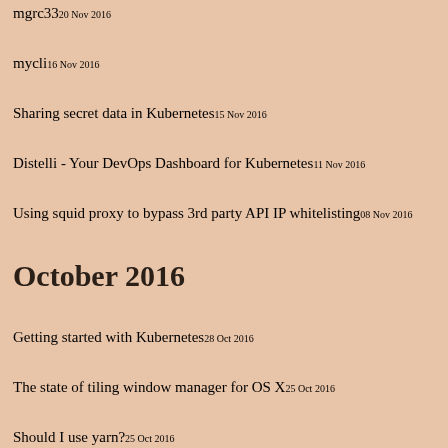mgrc3320 Nov 2016
mycli16 Nov 2016
Sharing secret data in Kubernetes15 Nov 2016
Distelli - Your DevOps Dashboard for Kubernetes11 Nov 2016
Using squid proxy to bypass 3rd party API IP whitelisting08 Nov 2016
October 2016
Getting started with Kubernetes28 Oct 2016
The state of tiling window manager for OS X25 Oct 2016
Should I use yarn?25 Oct 2016